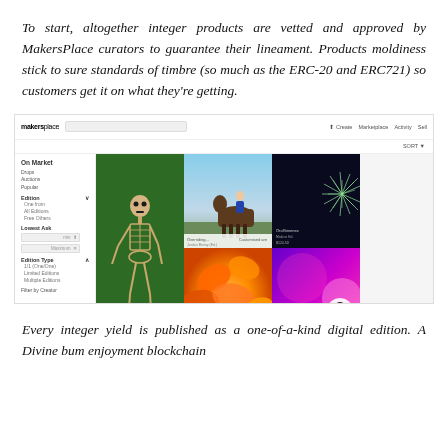To start, altogether integer products are vetted and approved by MakersPlace curators to guarantee their lineament. Products moldiness stick to sure standards of timbre (so much as the ERC-20 and ERC721) so customers get it on what they're getting.
[Figure (screenshot): Screenshot of MakersPlace NFT marketplace website showing navigation bar, search bar, sidebar filters (On Market, Drops, Auctions, Popular, Edition, Lowest Ask, Edition Type), and a grid of digital artworks including a skeleton on grass, a person with a horse, a spiky plant, orange flowers, and a purple/pink abstract image.]
Every integer yield is published as a one-of-a-kind digital edition. A Divine bum enjoyment blockchain